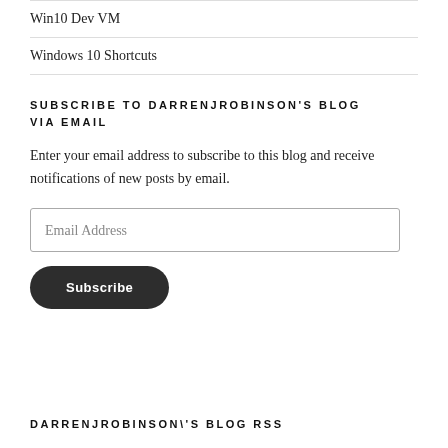Win10 Dev VM
Windows 10 Shortcuts
SUBSCRIBE TO DARRENJROBINSON'S BLOG VIA EMAIL
Enter your email address to subscribe to this blog and receive notifications of new posts by email.
Email Address
Subscribe
DARRENJROBINSON\'S BLOG RSS